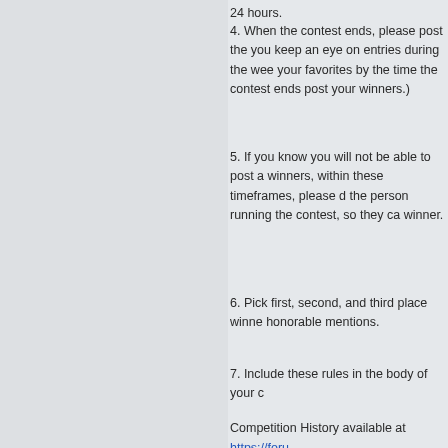24 hours.
4. When the contest ends, please post the you keep an eye on entries during the wee your favorites by the time the contest ends post your winners.)
5. If you know you will not be able to post a winners, within these timeframes, please d the person running the contest, so they ca winner.
6. Pick first, second, and third place winne honorable mentions.
7. Include these rules in the body of your c
Competition History available at https://foru f=9&t=42757
cits_4_pets
Posts: 1787
Location: Walnut Creek, CA
Re: 632nd Show & Tell Competition Aviation
Sun May 22, 2022 6:25 pm